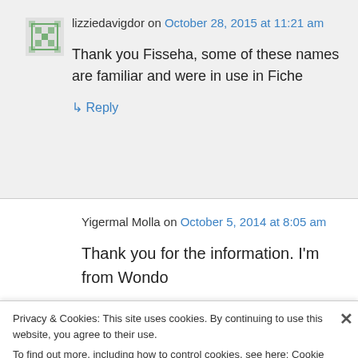lizziedavigdor on October 28, 2015 at 11:21 am
Thank you Fisseha, some of these names are familiar and were in use in Fiche
↳ Reply
Yigermal Molla on October 5, 2014 at 8:05 am
Thank you for the information. I'm from Wondo
Privacy & Cookies: This site uses cookies. By continuing to use this website, you agree to their use.
To find out more, including how to control cookies, see here: Cookie Policy
Close and accept